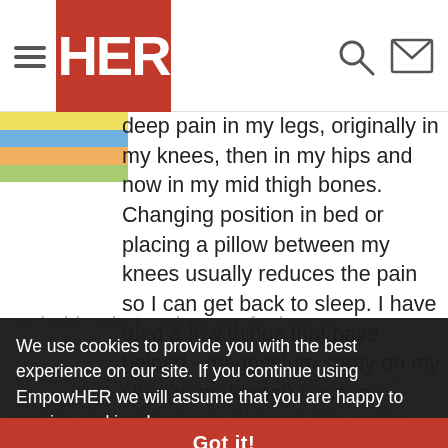HER (EmpowHER website header with hamburger menu, search, and mail icons)
deep pain in my legs, originally in my knees, then in my hips and now in my mid thigh bones. Changing position in bed or placing a pillow between my knees usually reduces the pain so I can get back to sleep. I have tried a few things that have helped - magnesium spray on my skin (transdermal) because magnesium is easier to absorb through your skin than to digest from a pill, eating live yogurt last thing in the evening (the calcium is probably what makes me feel more... sit all day working in front of a computer, but I usually walk at least 30 minutes every day, preferably in sunshine or at least during the brightest
We use cookies to provide you with the best experience on our site. If you continue using EmpowHER we will assume that you are happy to receive cookies. Learn more
Got it!